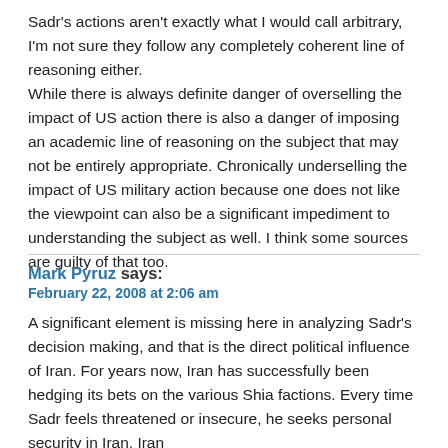Sadr's actions aren't exactly what I would call arbitrary, I'm not sure they follow any completely coherent line of reasoning either.
While there is always definite danger of overselling the impact of US action there is also a danger of imposing an academic line of reasoning on the subject that may not be entirely appropriate. Chronically underselling the impact of US military action because one does not like the viewpoint can also be a significant impediment to understanding the subject as well. I think some sources are guilty of that too.
Mark Pyruz says:
February 22, 2008 at 2:06 am
A significant element is missing here in analyzing Sadr's decision making, and that is the direct political influence of Iran. For years now, Iran has successfully been hedging its bets on the various Shia factions. Every time Sadr feels threatened or insecure, he seeks personal security in Iran. Iran has consistently isolated itself from Sadrists as a means of hedging...